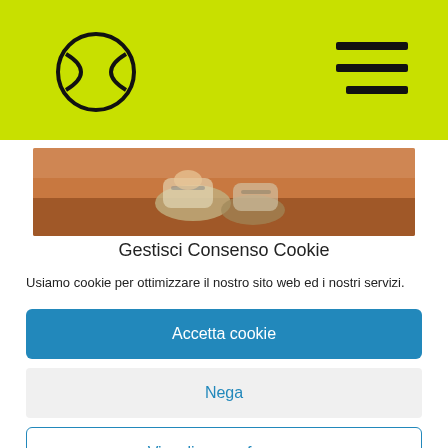[Figure (logo): Tennis ball logo (circle with curved line) on yellow-green header bar]
[Figure (other): Hamburger menu icon (three horizontal lines) on top-right of yellow-green header]
[Figure (photo): Cropped photo strip showing a tennis player's feet/shoes on a clay court]
Gestisci Consenso Cookie
Usiamo cookie per ottimizzare il nostro sito web ed i nostri servizi.
Accetta cookie
Nega
Visualizza preference